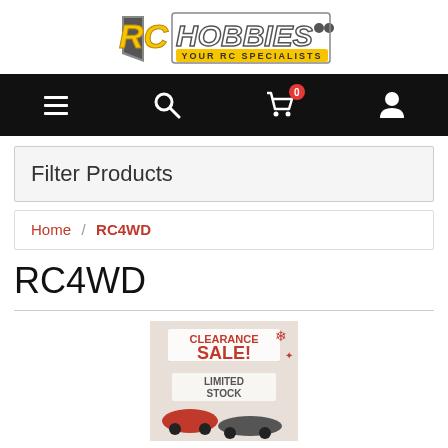[Figure (logo): RC Hobbies logo — yellow and grey RC HOBBIES text with 'YOUR RC SPECIALISTS' tagline]
[Figure (screenshot): Black navigation bar with hamburger menu, search icon, shopping cart with badge '0', and user account icon]
Filter Products
Home / RC4WD
RC4WD
[Figure (photo): Clearance Sale Limited Stock promotional image with RC car toys]
SPECIALS & CLEARANCES